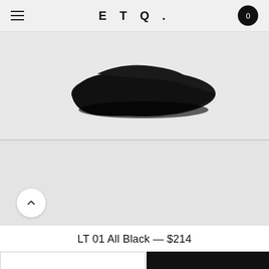ETQ.
[Figure (photo): Close-up partial view of a black minimalist sneaker (ETQ LT 01 All Black) against a light gray background. The shoe sole and lower portion are visible.]
[Figure (photo): Second product image panel showing a light gray background area with a scroll-up/chevron button in the bottom left corner.]
LT 01 All Black — $214
All Black
Select Size